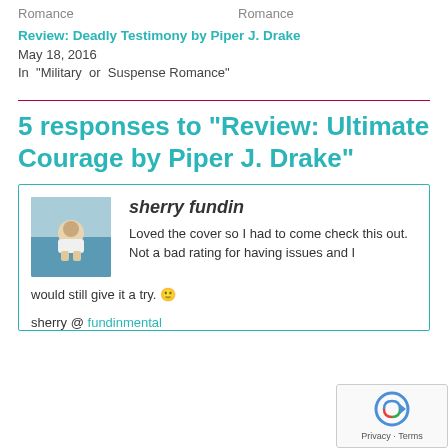Romance    Romance
Review: Deadly Testimony by Piper J. Drake
May 18, 2016
In "Military or Suspense Romance"
5 responses to “Review: Ultimate Courage by Piper J. Drake”
sherry fundin
Loved the cover so I had to come check this out. Not a bad rating for having issues and I would still give it a try. 🙂

sherry @ fundinmental